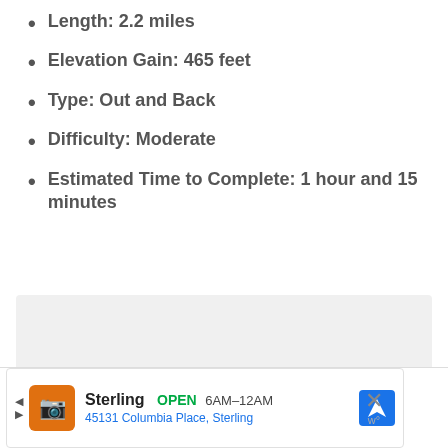Length: 2.2 miles
Elevation Gain: 465 feet
Type: Out and Back
Difficulty: Moderate
Estimated Time to Complete: 1 hour and 15 minutes
[Figure (other): Gray placeholder box for an embedded map or image]
[Figure (other): Advertisement banner for Sterling restaurant: OPEN 6AM-12AM, 45131 Columbia Place, Sterling]